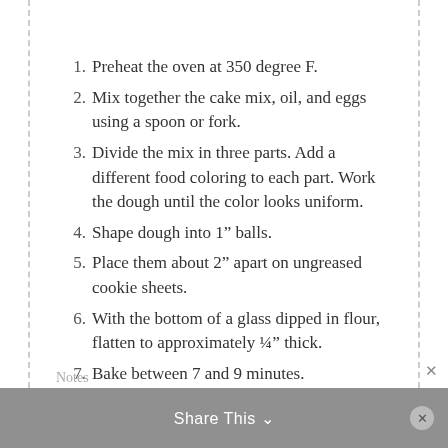1. Preheat the oven at 350 degree F.
2. Mix together the cake mix, oil, and eggs using a spoon or fork.
3. Divide the mix in three parts. Add a different food coloring to each part. Work the dough until the color looks uniform.
4. Shape dough into 1” balls.
5. Place them about 2” apart on ungreased cookie sheets.
6. With the bottom of a glass dipped in flour, flatten to approximately ¼” thick.
7. Bake between 7 and 9 minutes.
Share This